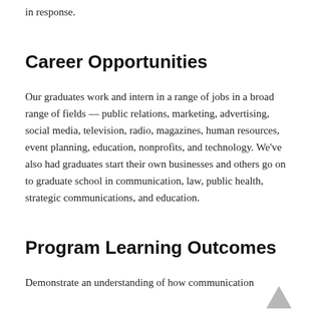in response.
Career Opportunities
Our graduates work and intern in a range of jobs in a broad range of fields — public relations, marketing, advertising, social media, television, radio, magazines, human resources, event planning, education, nonprofits, and technology. We've also had graduates start their own businesses and others go on to graduate school in communication, law, public health, strategic communications, and education.
Program Learning Outcomes
Demonstrate an understanding of how communication